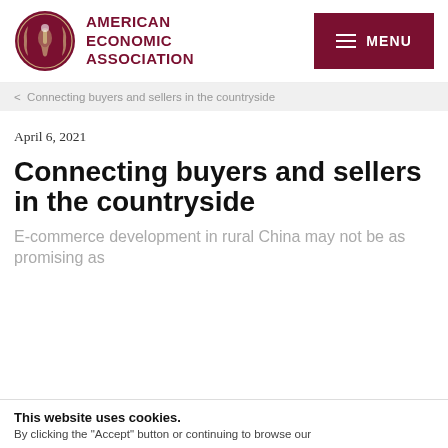AMERICAN ECONOMIC ASSOCIATION
< Connecting buyers and sellers in the countryside
April 6, 2021
Connecting buyers and sellers in the countryside
E-commerce development in rural China may not be as promising as
This website uses cookies.
By clicking the "Accept" button or continuing to browse our